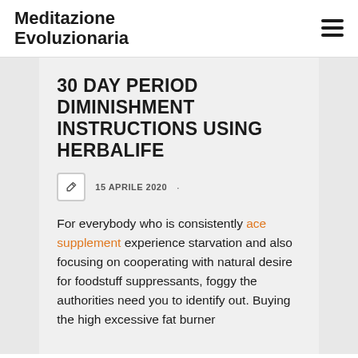Meditazione Evoluzionaria
30 DAY PERIOD DIMINISHMENT INSTRUCTIONS USING HERBALIFE
15 APRILE 2020
For everybody who is consistently ace supplement experience starvation and also focusing on cooperating with natural desire for foodstuff suppressants, foggy the authorities need you to identify out. Buying the high excessive fat burner